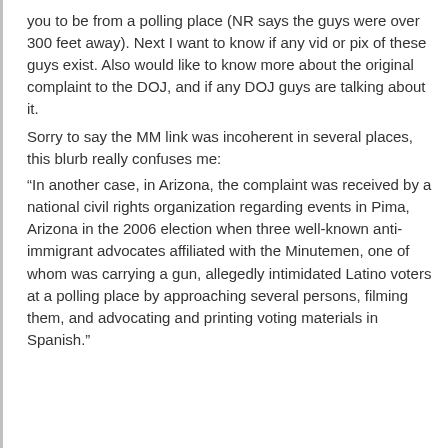you to be from a polling place (NR says the guys were over 300 feet away). Next I want to know if any vid or pix of these guys exist. Also would like to know more about the original complaint to the DOJ, and if any DOJ guys are talking about it.
Sorry to say the MM link was incoherent in several places, this blurb really confuses me:
“In another case, in Arizona, the complaint was received by a national civil rights organization regarding events in Pima, Arizona in the 2006 election when three well-known anti-immigrant advocates affiliated with the Minutemen, one of whom was carrying a gun, allegedly intimidated Latino voters at a polling place by approaching several persons, filming them, and advocating and printing voting materials in Spanish.”
see more
^ | v
1040
12 years ago